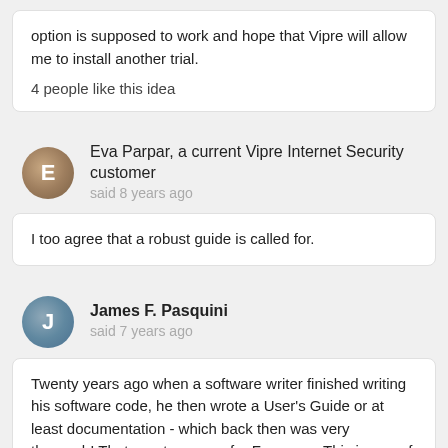option is supposed to work and hope that Vipre will allow me to install another trial.
4 people like this idea
Eva Parpar, a current Vipre Internet Security customer said 8 years ago
I too agree that a robust guide is called for.
James F. Pasquini said 7 years ago
Twenty years ago when a software writer finished writing his software code, he then wrote a User's Guide or at least documentation - which back then was very thorough! That was true even for Freeware. This is one of the things I miss the most about the software being written today - a thorough and comprehensive (and easily understood) User's Guide. The worst User's Guides were the so-called